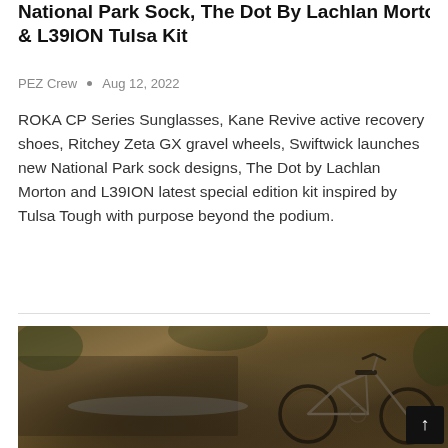National Park Sock, The Dot By Lachlan Morton & L39ION Tulsa Kit
PEZ Crew • Aug 12, 2022
ROKA CP Series Sunglasses, Kane Revive active recovery shoes, Ritchey Zeta GX gravel wheels, Swiftwick launches new National Park sock designs, The Dot by Lachlan Morton and L39ION latest special edition kit inspired by Tulsa Tough with purpose beyond the podium.
[Figure (photo): A gravel/adventure bicycle with drop handlebars leaning against a rocky stream bank surrounded by autumn foliage and woodland scenery.]